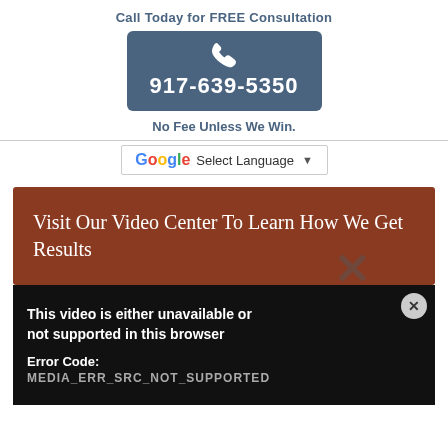Call Today for FREE Consultation
[Figure (other): Blue rounded rectangle button with white phone icon and phone number 917-639-5350 in white text]
No Fee Unless We Win.
[Figure (other): Google Translate widget: G logo followed by Select Language dropdown with arrow]
Visit Our Video Center To Learn How We Get Results
[Figure (other): Black video player box with error message: This video is either unavailable or not supported in this browser. Error Code: MEDIA_ERR_SRC_NOT_SUPPORTED. Large X watermark overlay. Close button top right.]